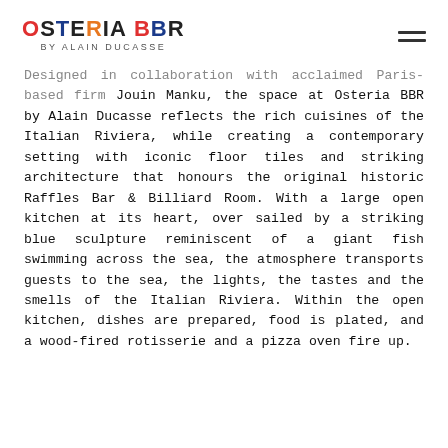OSTERIA BBR by ALAIN DUCASSE
Designed in collaboration with acclaimed Paris-based firm Jouin Manku, the space at Osteria BBR by Alain Ducasse reflects the rich cuisines of the Italian Riviera, while creating a contemporary setting with iconic floor tiles and striking architecture that honours the original historic Raffles Bar & Billiard Room. With a large open kitchen at its heart, over sailed by a striking blue sculpture reminiscent of a giant fish swimming across the sea, the atmosphere transports guests to the sea, the lights, the tastes and the smells of the Italian Riviera. Within the open kitchen, dishes are prepared, food is plated, and a wood-fired rotisserie and a pizza oven fire up.